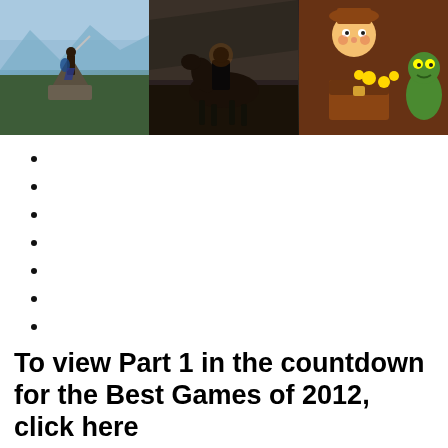[Figure (photo): A horizontal strip of three video game screenshots: left shows a heroic figure standing on a rocky outcrop with a sword and shield in a vast landscape (Legend of Zelda: Breath of the Wild style); center shows a dark fantasy horseman or creature on horseback in a stormy scene; right shows a cartoon-style boy with a treasure chest and coins alongside a green creature.]
To view Part 1 in the countdown for the Best Games of 2012, click here